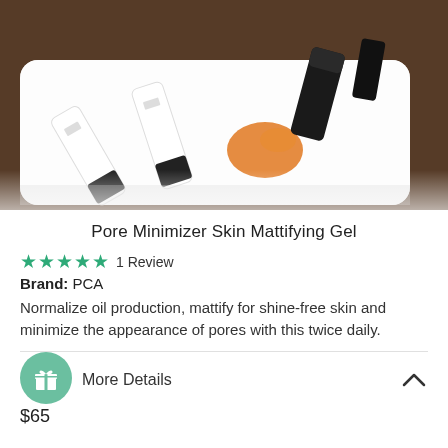[Figure (photo): Photo of skincare product tubes and containers arranged on a white tray against a dark wood background. Tubes are white with black caps, and there is an orange liquid/gel visible.]
Pore Minimizer Skin Mattifying Gel
★★★★★ 1 Review
Brand: PCA
Normalize oil production, mattify for shine-free skin and minimize the appearance of pores with this twice daily.
More details
$65